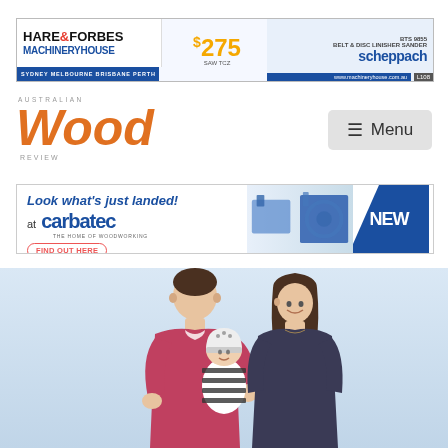[Figure (photo): Hare & Forbes MachineryHouse advertisement banner showing Belt & Disc Linisher Sander by Scheppach for $275. Cities listed: Sydney, Melbourne, Brisbane, Perth. Website: www.machineryhouse.com.au]
[Figure (logo): Australian Wood Review magazine logo with orange italic 'Wood' text]
[Figure (other): Menu navigation button with hamburger icon]
[Figure (photo): Carbatec advertisement: 'Look what's just landed! at carbatec THE HOME OF WOODWORKING' with FIND OUT HERE button and NEW banner, showing woodworking machinery]
[Figure (photo): Photo of a young couple holding a newborn baby dressed in a striped outfit, against a light blue-grey background]